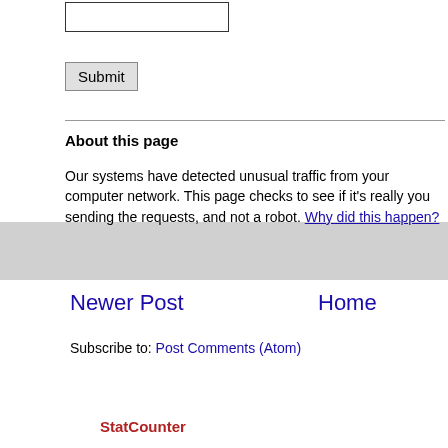[Figure (other): A text input box (form field) at the top of the page]
Submit
About this page
Our systems have detected unusual traffic from your computer network. This page checks to see if it's really you sending the requests, and not a robot. Why did this happen?
Newer Post
Home
Subscribe to: Post Comments (Atom)
StatCounter